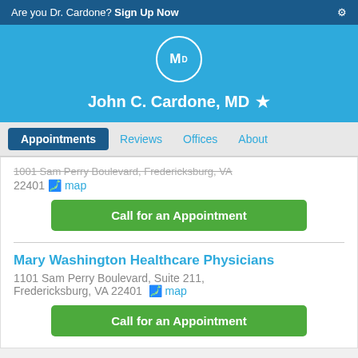Are you Dr. Cardone? Sign Up Now
[Figure (logo): MD logo in circle on blue background]
John C. Cardone, MD ★
Appointments | Reviews | Offices | About
1001 Sam Perry Boulevard, Fredericksburg, VA 22401 map
Call for an Appointment
Mary Washington Healthcare Physicians
1101 Sam Perry Boulevard, Suite 211, Fredericksburg, VA 22401 map
Call for an Appointment
Dr. John Cardone is a vascular surgeon in